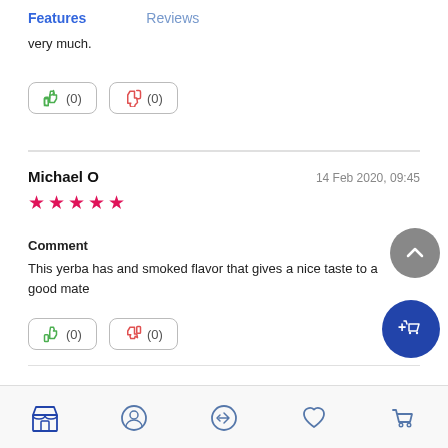Features   Reviews
very much.
[Figure (screenshot): Thumbs up (0) and thumbs down (0) vote buttons, first row]
Michael O   14 Feb 2020, 09:45
★★★★★
Comment
This yerba has and smoked flavor that gives a nice taste to a good mate
[Figure (screenshot): Thumbs up (0) and thumbs down (0) vote buttons, second row]
Store | Profile | Share | Wishlist | Cart